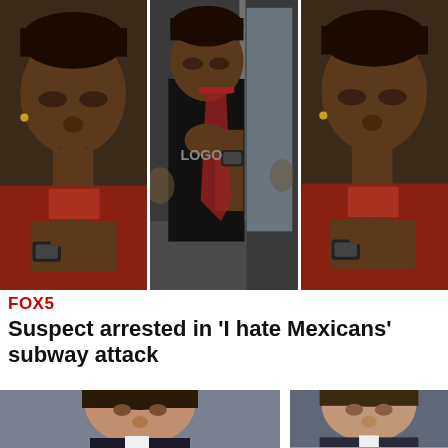[Figure (photo): Three side-by-side video stills from subway footage showing a woman on a subway train, apparently involved in an attack. Left and right panels show a close-up of the suspect's face and hands; center panel shows a wider shot of the same person standing in the subway car holding a bag strap.]
FOX5
Suspect arrested in 'I hate Mexicans' subway attack
[Figure (photo): Two headshot photos of men (likely news anchors or persons of interest), partially visible at the bottom of the page. Left photo shows a man with dark hair against a gray background; right photo shows another man with lighter hair.]